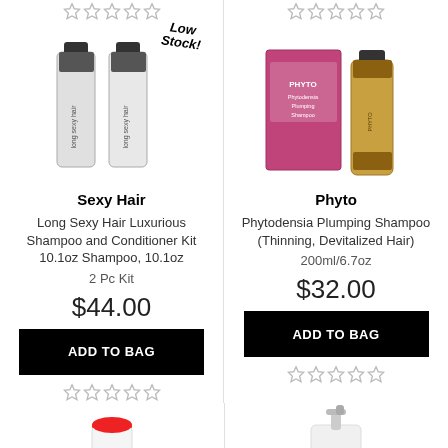[Figure (photo): Star rating row (empty stars) for left product at top]
[Figure (photo): Star rating row (empty stars) for right product at top]
[Figure (photo): Sexy Hair shampoo and conditioner bottles with Low Stock! label]
[Figure (photo): Phyto Phytodensia Plumping Shampoo box and bottle]
Sexy Hair
Phyto
Long Sexy Hair Luxurious Shampoo and Conditioner Kit 10.1oz Shampoo, 10.1oz
Phytodensia Plumping Shampoo (Thinning, Devitalized Hair)
2 Pc Kit
200ml/6.7oz
$44.00
$32.00
ADD TO BAG
ADD TO BAG
[Figure (photo): Star rating row (empty stars) for left product at bottom]
[Figure (photo): Star rating row (empty stars) for right product at bottom]
[Figure (photo): Bottom left product partial image - white bottle with red cap]
[Figure (photo): Bottom right product partial image - white pump bottle]